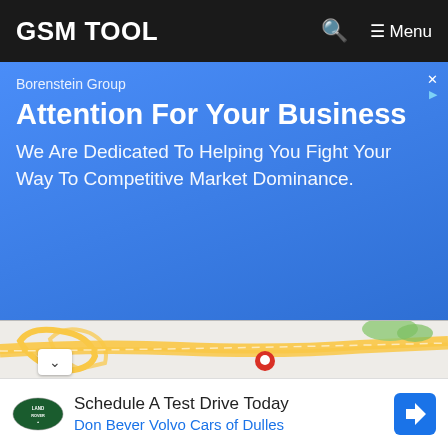GSM TOOL
[Figure (infographic): Blue advertisement banner for Borenstein Group. Text: 'Borenstein Group' / 'Attention For Your Business' / 'We Are Dedicated To Helping You Fight Your Way To Competitive Market Dominance.']
[Figure (map): Google Maps screenshot showing a highway interchange with yellow roads. Red location pin visible near center. Green park area upper right. White roads on grey background.]
[Figure (infographic): Bottom ad banner: Land Rover logo on left, text 'Schedule A Test Drive Today' and 'Don Bever Volvo Cars of Dulles' in blue, blue navigation arrow icon on right.]